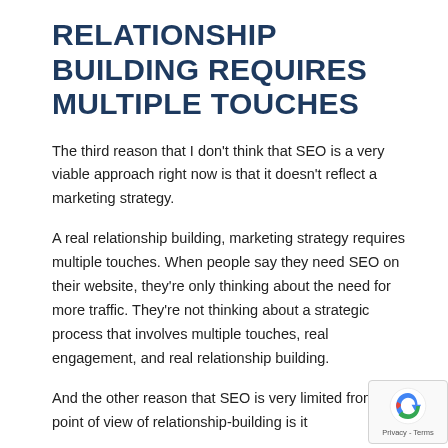RELATIONSHIP BUILDING REQUIRES MULTIPLE TOUCHES
The third reason that I don't think that SEO is a very viable approach right now is that it doesn't reflect a marketing strategy.
A real relationship building, marketing strategy requires multiple touches. When people say they need SEO on their website, they're only thinking about the need for more traffic. They're not thinking about a strategic process that involves multiple touches, real engagement, and real relationship building.
And the other reason that SEO is very limited from the point of view of relationship-building is it